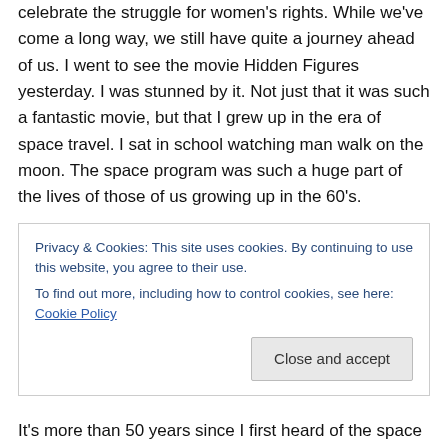celebrate the struggle for women's rights. While we've come a long way, we still have quite a journey ahead of us. I went to see the movie Hidden Figures yesterday. I was stunned by it. Not just that it was such a fantastic movie, but that I grew up in the era of space travel. I sat in school watching man walk on the moon. The space program was such a huge part of the lives of those of us growing up in the 60's.
But we knew for sure that it was a man's job. The closest any woman could get to being part of the space program was if you were a secretary or Barbara Eden. It was too
Privacy & Cookies: This site uses cookies. By continuing to use this website, you agree to their use.
To find out more, including how to control cookies, see here: Cookie Policy
[Close and accept]
It's more than 50 years since I first heard of the space